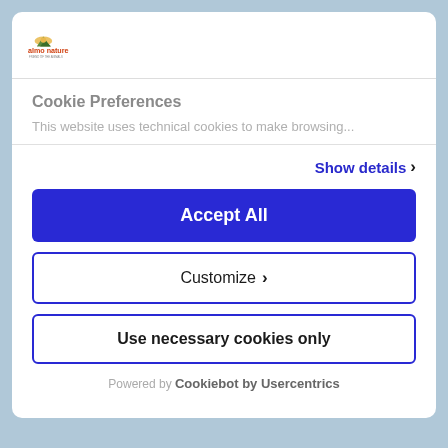[Figure (logo): Almo Nature logo — mountain/sun graphic with text 'almo nature' in red-orange and tagline below]
Cookie Preferences
This website uses technical cookies to make browsing...
Show details >
Accept All
Customize >
Use necessary cookies only
Powered by Cookiebot by Usercentrics